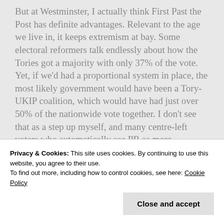But at Westminster, I actually think First Past the Post has definite advantages. Relevant to the age we live in, it keeps extremism at bay. Some electoral reformers talk endlessly about how the Tories got a majority with only 37% of the vote. Yet, if we'd had a proportional system in place, the most likely government would have been a Tory-UKIP coalition, which would have had just over 50% of the nationwide vote together. I don't see that as a step up myself, and many centre-left voters who automatically see PR as more progressive should have a long,
Privacy & Cookies: This site uses cookies. By continuing to use this website, you agree to their use.
To find out more, including how to control cookies, see here: Cookie Policy